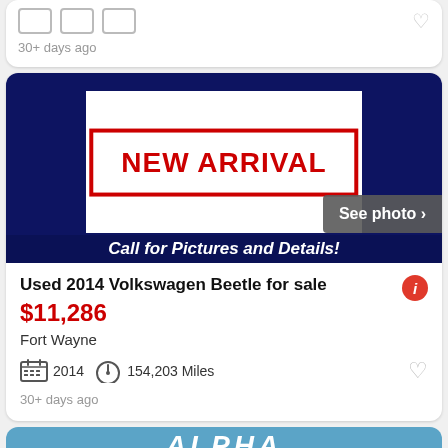30+ days ago
[Figure (photo): NEW ARRIVAL placeholder image with dark navy blue background and white center box showing 'NEW ARRIVAL' in red bold text with red border, and a 'See photo >' button overlay, with 'Call for Pictures and Details!' text at bottom]
Used 2014 Volkswagen Beetle for sale
$11,286
Fort Wayne
2014   154,203 Miles
30+ days ago